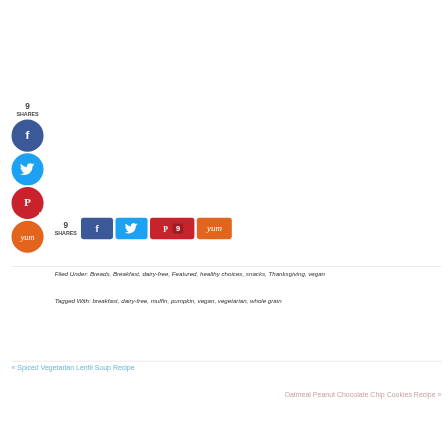[Figure (infographic): Social sharing sidebar with Facebook (blue circle), Twitter (cyan circle), Pinterest (red circle with count 9), Yummly (orange circle) buttons, showing 9 SHARES count at top]
[Figure (infographic): Inline horizontal share bar with Facebook, Twitter, Pinterest (showing count 9), and Yummly buttons, alongside 9 SHARES label]
Filed Under: Breads, Breakfast, dairy-free, Featured, healthy choices, snacks, Thanksgiving, vegan
Tagged With: breakfast, dairy-free, muffin, pumpkin, vegan, vegetarian, whole grain
« Spiced Vegetarian Lentil Soup Recipe
Oatmeal Peanut Chocolate Chip Cookies Recipe »